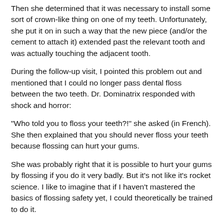Then she determined that it was necessary to install some sort of crown-like thing on one of my teeth. Unfortunately, she put it on in such a way that the new piece (and/or the cement to attach it) extended past the relevant tooth and was actually touching the adjacent tooth.
During the follow-up visit, I pointed this problem out and mentioned that I could no longer pass dental floss between the two teeth. Dr. Dominatrix responded with shock and horror:
"Who told you to floss your teeth?!" she asked (in French). She then explained that you should never floss your teeth because flossing can hurt your gums.
She was probably right that it is possible to hurt your gums by flossing if you do it very badly. But it's not like it's rocket science. I like to imagine that if I haven't mastered the basics of flossing safety yet, I could theoretically be trained to do it.
That was strike two against Dr. Dominatrix.